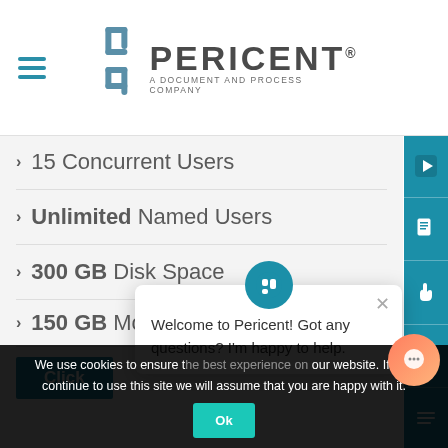[Figure (logo): Pericent logo — stylized quotation mark icon with text 'PERICENT® A DOCUMENT AND PROCESS COMPANY']
15 Concurrent Users
Unlimited Named Users
300 GB Disk Space
150 GB Monthly Bandwidth
Click
Welcome to Pericent! Got any questions? I'm happy to help.
We use cookies to ensure the best experience on our website. If you continue to use this site we will assume that you are happy with it.
Ok